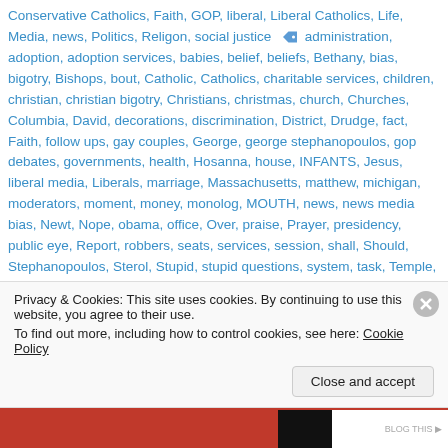Conservative Catholics, Faith, GOP, liberal, Liberal Catholics, Life, Media, news, Politics, Religon, social justice 🏷 administration, adoption, adoption services, babies, belief, beliefs, Bethany, bias, bigotry, Bishops, bout, Catholic, Catholics, charitable services, children, christian, christian bigotry, Christians, christmas, church, Churches, Columbia, David, decorations, discrimination, District, Drudge, fact, Faith, follow ups, gay couples, George, george stephanopoulos, gop debates, governments, health, Hosanna, house, INFANTS, Jesus, liberal media, Liberals, marriage, Massachusetts, matthew, michigan, moderators, moment, money, monolog, MOUTH, news, news media bias, Newt, Nope, obama, office, Over, praise, Prayer, presidency, public eye, Report, robbers, seats, services, session, shall, Should, Stephanopoulos, Sterol, Stupid, stupid questions, system, task, Temple, truth, world,
Privacy & Cookies: This site uses cookies. By continuing to use this website, you agree to their use.
To find out more, including how to control cookies, see here: Cookie Policy
Close and accept